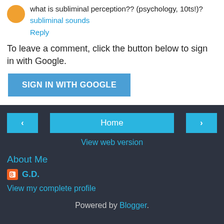what is subliminal perception?? (psychology, 10ts!)?
subliminal sounds
Reply
To leave a comment, click the button below to sign in with Google.
SIGN IN WITH GOOGLE
Home
View web version
About Me
G.D.
View my complete profile
Powered by Blogger.